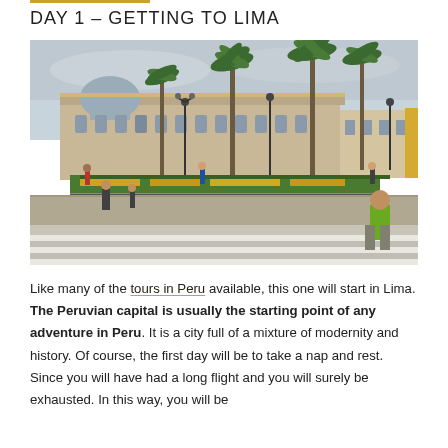DAY 1 – GETTING TO LIMA
[Figure (photo): Plaza Mayor in Lima, Peru. Colonial government palace building in background with palm trees. People walking in the square, flower garden beds, street lamps, and a zebra pedestrian crossing in the foreground. A man in green shirt is prominent in front right.]
Like many of the tours in Peru available, this one will start in Lima. The Peruvian capital is usually the starting point of any adventure in Peru. It is a city full of a mixture of modernity and history. Of course, the first day will be to take a nap and rest. Since you will have had a long flight and you will surely be exhausted. In this way, you will be